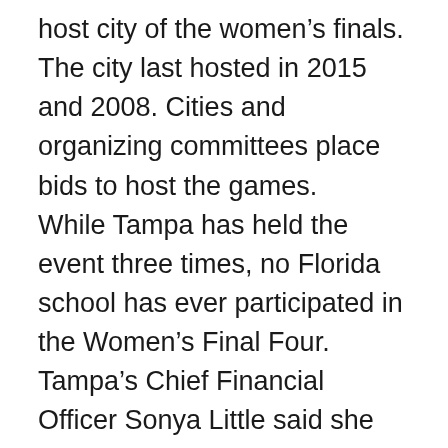host city of the women's finals. The city last hosted in 2015 and 2008. Cities and organizing committees place bids to host the games. While Tampa has held the event three times, no Florida school has ever participated in the Women's Final Four. Tampa's Chief Financial Officer Sonya Little said she believes the tournament will bring economic growth to the Tampa Bay area through tourism and business. “It’s very important to our community,” Little said. “We saw that in Columbus,